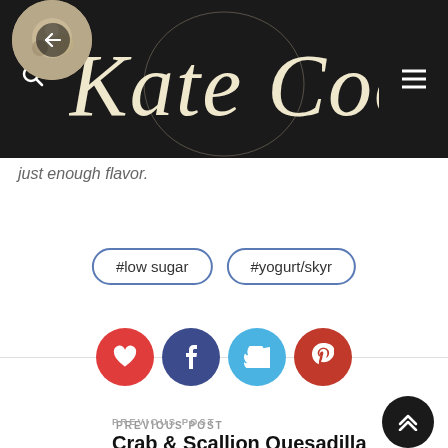[Figure (logo): Kate Cooks blog logo on dark background with script text and food illustration]
just enough flavor.
#low sugar
#yogurt/skyr
[Figure (infographic): Social share buttons: heart (like), Facebook, Twitter, Pinterest]
PREVIOUS POST
Crab & Scallion Quesadilla